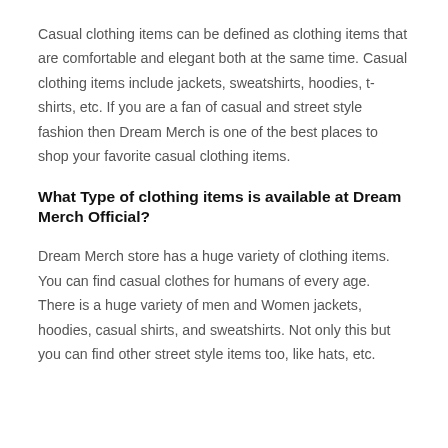Casual clothing items can be defined as clothing items that are comfortable and elegant both at the same time. Casual clothing items include jackets, sweatshirts, hoodies, t-shirts, etc. If you are a fan of casual and street style fashion then Dream Merch is one of the best places to shop your favorite casual clothing items.
What Type of clothing items is available at Dream Merch Official?
Dream Merch store has a huge variety of clothing items. You can find casual clothes for humans of every age. There is a huge variety of men and Women jackets, hoodies, casual shirts, and sweatshirts. Not only this but you can find other street style items too, like hats, etc.